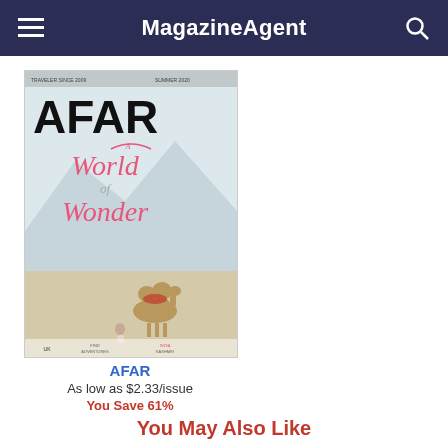MagazineAgent
[Figure (illustration): AFAR magazine cover showing 'A World of Wonder' with a camel and person in a desert landscape with mountains]
AFAR
As low as $2.33/issue
You Save 61%
You May Also Like